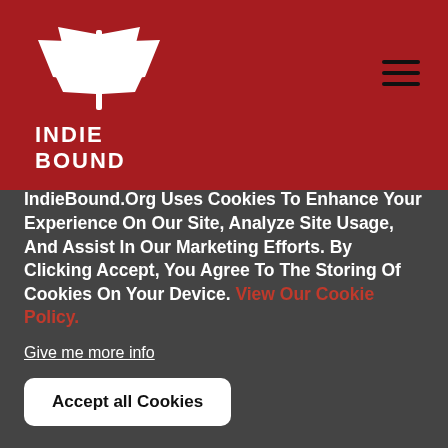[Figure (logo): IndieBound logo — stylized book/hand graphic in white on dark red background, with text INDIE BOUND below]
Lillie Silva knew life as an empty nester would be hard after her only child left for college, but when her husband abruptly dumps her for another woman just as her son leaves, her world comes crashing down. Besides the fact that this announcement is a
IndieBound.Org Uses Cookies To Enhance Your Experience On Our Site, Analyze Site Usage, And Assist In Our Marketing Efforts. By Clicking Accept, You Agree To The Storing Of Cookies On Your Device. View Our Cookie Policy.
Give me more info
Accept all Cookies